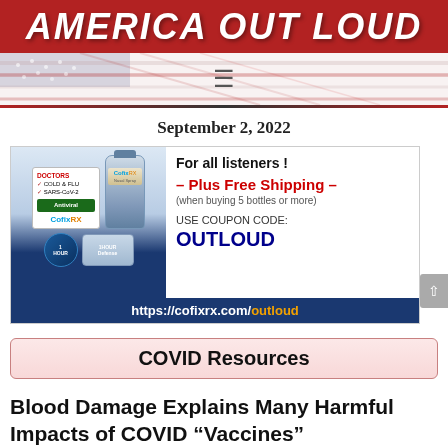AMERICA OUT LOUD
September 2, 2022
[Figure (infographic): Advertisement for CofixRx antiviral nasal spray showing product bottles, promotional offer for all listeners including Plus Free Shipping when buying 5 bottles or more, coupon code OUTLOUD, and URL https://cofixrx.com/outloud]
COVID Resources
Blood Damage Explains Many Harmful Impacts of COVID “Vaccines”